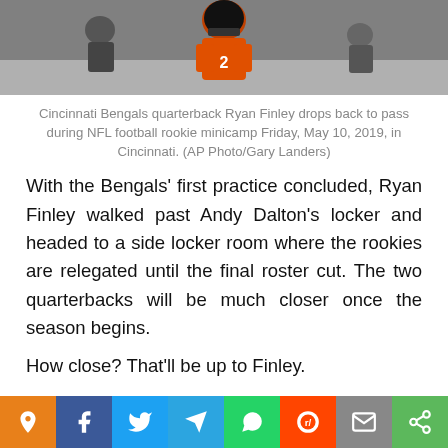[Figure (photo): Cincinnati Bengals quarterback Ryan Finley in orange jersey dropping back to pass during NFL football rookie minicamp]
Cincinnati Bengals quarterback Ryan Finley drops back to pass during NFL football rookie minicamp Friday, May 10, 2019, in Cincinnati. (AP Photo/Gary Landers)
With the Bengals’ first practice concluded, Ryan Finley walked past Andy Dalton’s locker and headed to a side locker room where the rookies are relegated until the final roster cut. The two quarterbacks will be much closer once the season begins.
How close? That’ll be up to Finley.
The fourth-round pick from N.C. State is competing with Jeff Driskel for the chance to be the No. 2 quarterback for now. Dalton is under contract for two more seasons, and coa...ed
[Figure (infographic): Social media share bar with icons: location pin (orange), Facebook (blue), Twitter (blue), Telegram (blue), WhatsApp (green), Reddit (red), email (gray), share (green)]